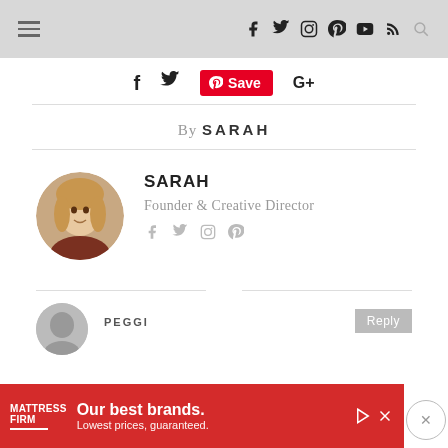Navigation bar with hamburger menu, social icons (f, twitter, instagram, pinterest, youtube, rss) and search
f  twitter  Save  G+  (share bar)
By SARAH
[Figure (photo): Circular portrait photo of Sarah, a blonde woman smiling]
SARAH
Founder & Creative Director
PEGGI (comment section)
[Figure (advertisement): Mattress Firm ad: Our best brands. Lowest prices, guaranteed.]